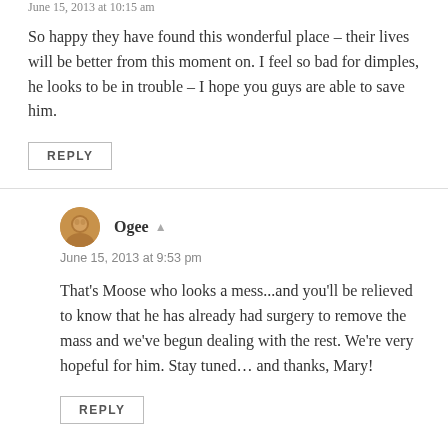June 15, 2013 at 10:15 am
So happy they have found this wonderful place – their lives will be better from this moment on. I feel so bad for dimples, he looks to be in trouble – I hope you guys are able to save him.
REPLY
Ogee
June 15, 2013 at 9:53 pm
That's Moose who looks a mess...and you'll be relieved to know that he has already had surgery to remove the mass and we've begun dealing with the rest. We're very hopeful for him. Stay tuned… and thanks, Mary!
REPLY